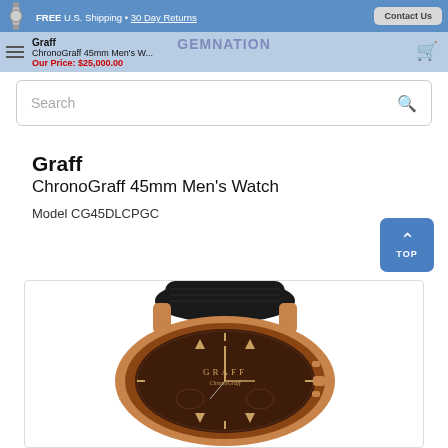FREE U.S. Shipping • 30 Day Returns | Contact Us | GEMNATION
Graff
ChronoGraff 45mm Men's W...
Our Price: $25,000.00
Search
Graff
ChronoGraff 45mm Men's Watch
Model CG45DLCPGC
[Figure (photo): Graff ChronoGraff 45mm men's watch with rose gold case, brown dial, and black leather strap, viewed from above at slight angle]